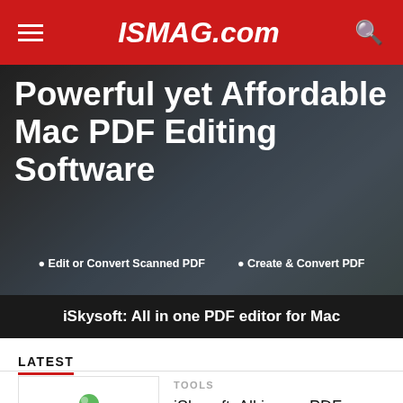ISMAG.com
[Figure (screenshot): Hero banner for iSkysoft PDF editing software showing dark background with people, headline 'Powerful yet Affordable Mac PDF Editing Software', and two bullet points: 'Edit or Convert Scanned PDF' and 'Create & Convert PDF']
Powerful yet Affordable Mac PDF Editing Software
• Edit or Convert Scanned PDF   • Create & Convert PDF
iSkysoft: All in one PDF editor for Mac
LATEST
TOOLS
iSkysoft: All in one PDF editor for Mac